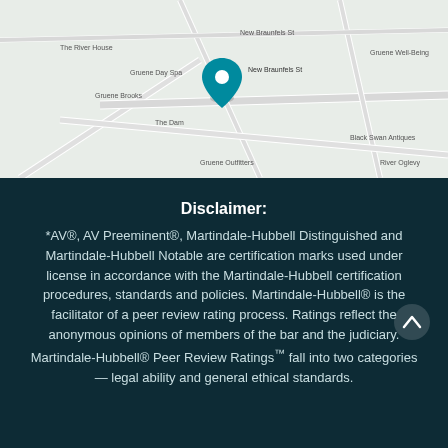[Figure (map): Google Maps view showing a street map with a teal location pin marker, displaying nearby streets and landmarks.]
Disclaimer:
*AV®, AV Preeminent®, Martindale-Hubbell Distinguished and Martindale-Hubbell Notable are certification marks used under license in accordance with the Martindale-Hubbell certification procedures, standards and policies. Martindale-Hubbell® is the facilitator of a peer review rating process. Ratings reflect the anonymous opinions of members of the bar and the judiciary. Martindale-Hubbell® Peer Review Ratings™ fall into two categories — legal ability and general ethical standards.